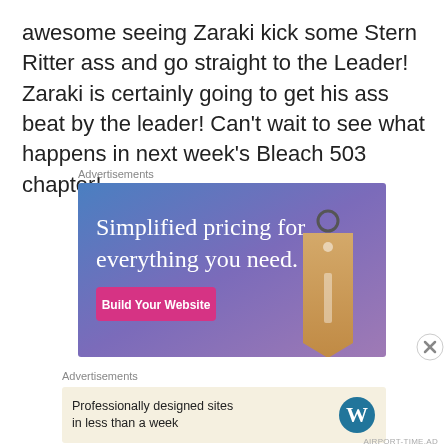awesome seeing Zaraki kick some Stern Ritter ass and go straight to the Leader! Zaraki is certainly going to get his ass beat by the leader! Can't wait to see what happens in next week's Bleach 503 chapter!
Advertisements
[Figure (screenshot): Advertisement banner with blue-to-purple gradient background. White serif text reads 'Simplified pricing for everything you need.' with a pink 'Build Your Website' button and a decorative price tag image on the right.]
Advertisements
[Figure (screenshot): Small advertisement banner with beige background. Text reads 'Professionally designed sites in less than a week' with WordPress logo on the right.]